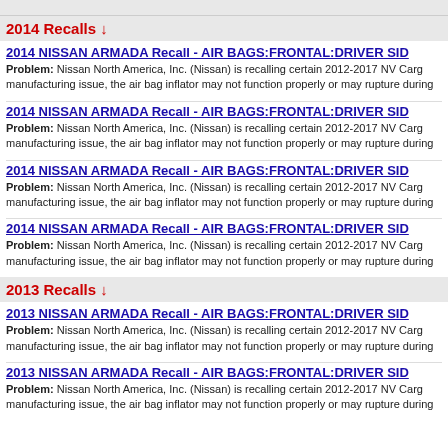...
2014 Recalls ↓
2014 NISSAN ARMADA Recall - AIR BAGS:FRONTAL:DRIVER SID...
Problem: Nissan North America, Inc. (Nissan) is recalling certain 2012-2017 NV Carg... manufacturing issue, the air bag inflator may not function properly or may rupture during...
2014 NISSAN ARMADA Recall - AIR BAGS:FRONTAL:DRIVER SID...
Problem: Nissan North America, Inc. (Nissan) is recalling certain 2012-2017 NV Carg... manufacturing issue, the air bag inflator may not function properly or may rupture during...
2014 NISSAN ARMADA Recall - AIR BAGS:FRONTAL:DRIVER SID...
Problem: Nissan North America, Inc. (Nissan) is recalling certain 2012-2017 NV Carg... manufacturing issue, the air bag inflator may not function properly or may rupture during...
2014 NISSAN ARMADA Recall - AIR BAGS:FRONTAL:DRIVER SID...
Problem: Nissan North America, Inc. (Nissan) is recalling certain 2012-2017 NV Carg... manufacturing issue, the air bag inflator may not function properly or may rupture during...
2013 Recalls ↓
2013 NISSAN ARMADA Recall - AIR BAGS:FRONTAL:DRIVER SID...
Problem: Nissan North America, Inc. (Nissan) is recalling certain 2012-2017 NV Carg... manufacturing issue, the air bag inflator may not function properly or may rupture during...
2013 NISSAN ARMADA Recall - AIR BAGS:FRONTAL:DRIVER SID...
Problem: Nissan North America, Inc. (Nissan) is recalling certain 2012-2017 NV Carg... manufacturing issue, the air bag inflator may not function properly or may rupture during...